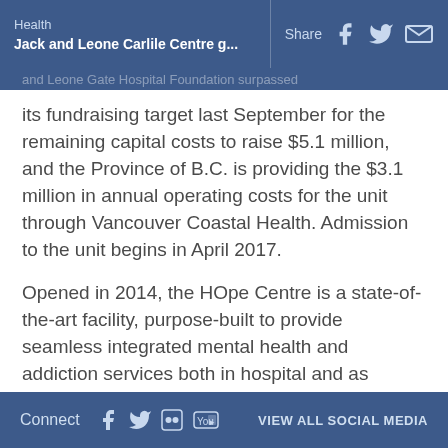Health | Jack and Leone Carlile Centre g... | Share
its fundraising target last September for the remaining capital costs to raise $5.1 million, and the Province of B.C. is providing the $3.1 million in annual operating costs for the unit through Vancouver Coastal Health. Admission to the unit begins in April 2017.
Opened in 2014, the HOpe Centre is a state-of-the-art facility, purpose-built to provide seamless integrated mental health and addiction services both in hospital and as outpatient services.
Connect | VIEW ALL SOCIAL MEDIA